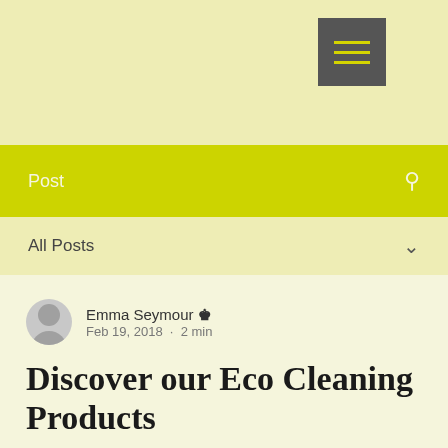[Figure (screenshot): Hamburger menu button with dark gray background and yellow lines on pale yellow navigation bar]
Post
All Posts
Emma Seymour 👑
Feb 19, 2018 · 2 min
Discover our Eco Cleaning Products
Updated: May 26, 2020
We at Bambu like to use 100% non-toxic cleaning products such as Method, Ecover, and well know